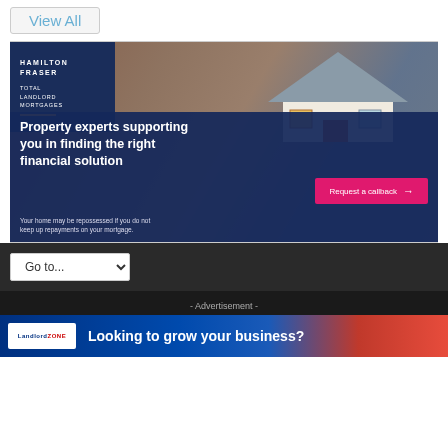View All
[Figure (illustration): Hamilton Fraser Total Landlord Mortgages advertisement banner. Shows a model house with a dark navy overlay. Text reads: 'Property experts supporting you in finding the right financial solution' with a pink 'Request a callback' button and disclaimer 'Your home may be repossessed if you do not keep up repayments on your mortgage.']
Go to...
- Advertisement -
Looking to grow your business?